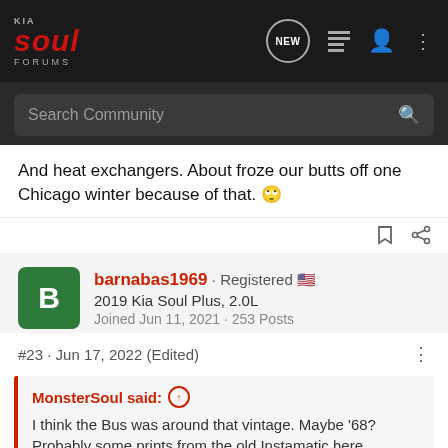KIA SOUL FORUMS
And heat exchangers. About froze our butts off one Chicago winter because of that. 🙄
barnabas1969 · Registered 🇺🇸
2019 Kia Soul Plus, 2.0L
Joined Jun 11, 2021 · 253 Posts
#23 · Jun 17, 2022 (Edited)
MonsterSoul said: ↑
I think the Bus was around that vintage. Maybe '68? Probably some prints from the old Instamatic here somewhere.
It was fun to drive, the front seats were on top the front wheels